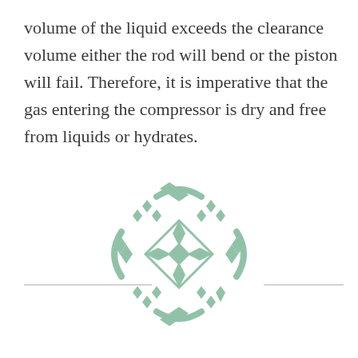volume of the liquid exceeds the clearance volume either the rod will bend or the piston will fail. Therefore, it is imperative that the gas entering the compressor is dry and free from liquids or hydrates.
[Figure (logo): Decorative geometric logo in sage green — a square diamond-pattern ornament with a circular arrangement of diamond shapes around the border, creating a quilt-like medallion design.]